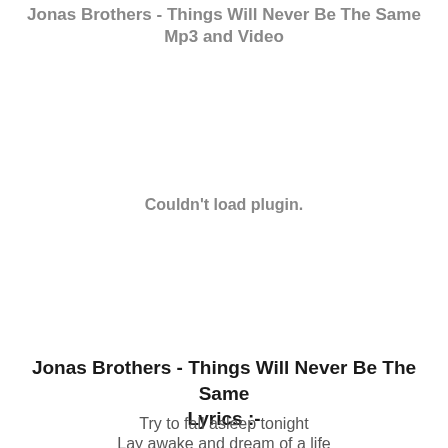Jonas Brothers - Things Will Never Be The Same Mp3 and Video
[Figure (other): Embedded media plugin area showing 'Couldn't load plugin.' message]
Jonas Brothers - Things Will Never Be The Same Lyrics :-
Try to fall asleep tonight
Lay awake and dream of a life